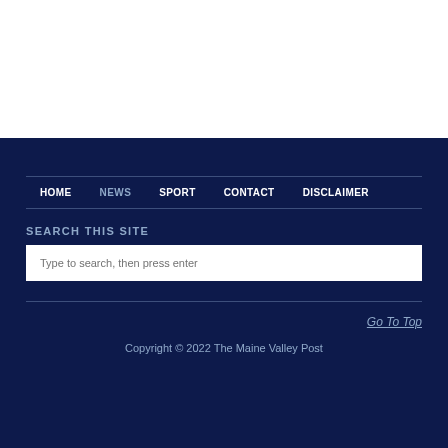HOME  NEWS  SPORT  CONTACT  DISCLAIMER
SEARCH THIS SITE
Type to search, then press enter
Go To Top
Copyright © 2022 The Maine Valley Post